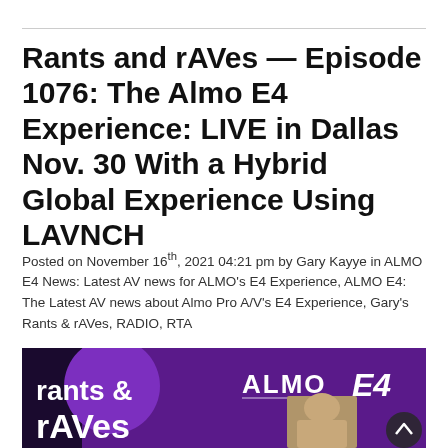Rants and rAVes — Episode 1076: The Almo E4 Experience: LIVE in Dallas Nov. 30 With a Hybrid Global Experience Using LAVNCH
Posted on November 16th, 2021 04:21 pm by Gary Kayye in ALMO E4 News: Latest AV news for ALMO's E4 Experience, ALMO E4: The Latest AV news about Almo Pro A/V's E4 Experience, Gary's Rants & rAVes, RADIO, RTA
[Figure (photo): Promotional banner image for Rants and rAVes podcast featuring purple background with 'rants & rAVes' text in white, ALMO and E4 logos, and a photo of a blonde woman on the right side.]